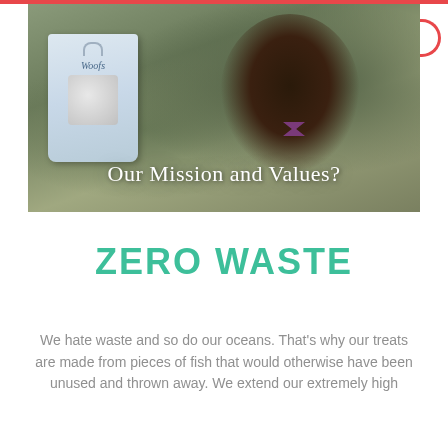[Figure (photo): Hero photo of a dachshund dog wearing a purple bow tie sitting in tall grass, with a Woofs branded dog treat package visible on the left. White overlay text reads 'Our Mission and Values?']
ZERO WASTE
We hate waste and so do our oceans. That's why our treats are made from pieces of fish that would otherwise have been unused and thrown away. We extend our extremely high